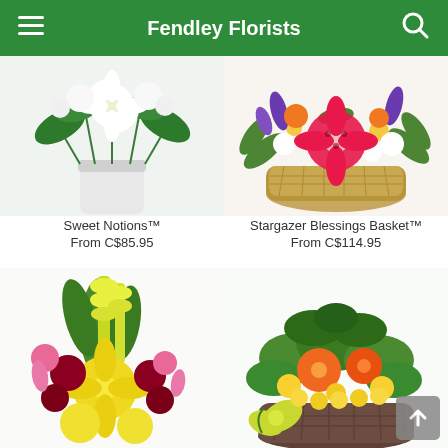Fendley Florists
[Figure (photo): Bouquet of white lilies and roses in a white vase labeled Sweet Notions]
Sweet Notions™
From C$85.95
[Figure (photo): Colorful flower arrangement with stargazer lily in a wicker basket labeled Stargazer Blessings Basket]
Stargazer Blessings Basket™
From C$114.95
[Figure (photo): Bright yellow and red flower arrangement with gladiolus]
[Figure (photo): Green plant basket with orange and yellow flowers with bow]